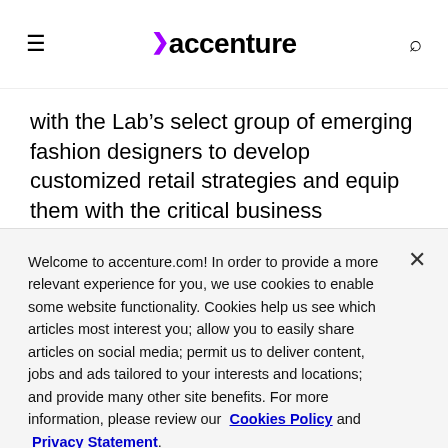accenture
with the Lab's select group of emerging fashion designers to develop customized retail strategies and equip them with the critical business knowledge and digital skills required to stay competitive in today's challenging retail market.
Welcome to accenture.com! In order to provide a more relevant experience for you, we use cookies to enable some website functionality. Cookies help us see which articles most interest you; allow you to easily share articles on social media; permit us to deliver content, jobs and ads tailored to your interests and locations; and provide many other site benefits. For more information, please review our Cookies Policy and Privacy Statement.
Cookie Settings